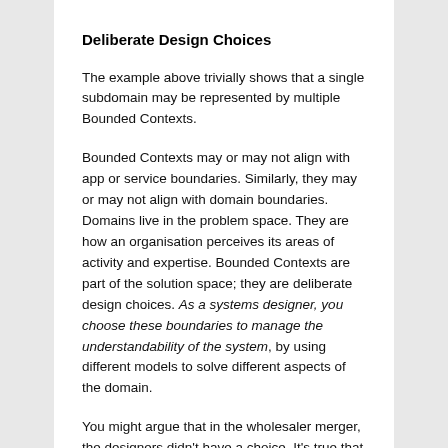Deliberate Design Choices
The example above trivially shows that a single subdomain may be represented by multiple Bounded Contexts.
Bounded Contexts may or may not align with app or service boundaries. Similarly, they may or may not align with domain boundaries. Domains live in the problem space. They are how an organisation perceives its areas of activity and expertise. Bounded Contexts are part of the solution space; they are deliberate design choices. As a systems designer, you choose these boundaries to manage the understandability of the system, by using different models to solve different aspects of the domain.
You might argue that in the wholesaler merger, the designers didn't have a choice. It's true that the engineers didn't choose to merge the companies. And there will always be external triggers that put constraints on our designs. At this point however, the systems designers can